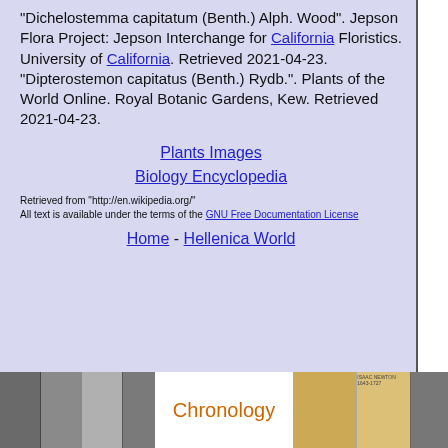"Dichelostemma capitatum (Benth.) Alph. Wood". Jepson Flora Project: Jepson Interchange for California Floristics. University of California. Retrieved 2021-04-23. "Dipterostemon capitatus (Benth.) Rydb.". Plants of the World Online. Royal Botanic Gardens, Kew. Retrieved 2021-04-23.
Plants Images
Biology Encyclopedia
Retrieved from "http://en.wikipedia.org/" All text is available under the terms of the GNU Free Documentation License
Home - Hellenica World
[Figure (screenshot): Google search bar with magnifying glass button]
[Figure (infographic): Chronology section with black-and-white portrait photos on left, 'Chronology' text in orange in center, postage stamps on right]